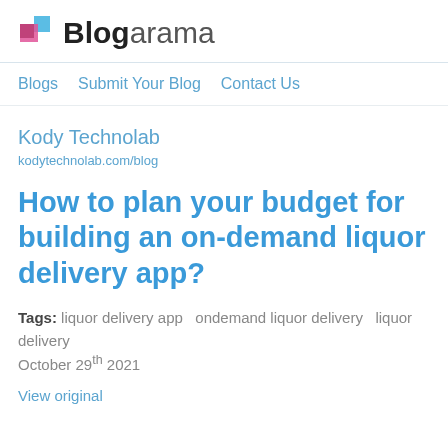Blogarama
Blogs  Submit Your Blog  Contact Us
Kody Technolab
kodytechnolab.com/blog
How to plan your budget for building an on-demand liquor delivery app?
Tags: liquor delivery app  ondemand liquor delivery  liquor delivery
October 29th 2021
View original